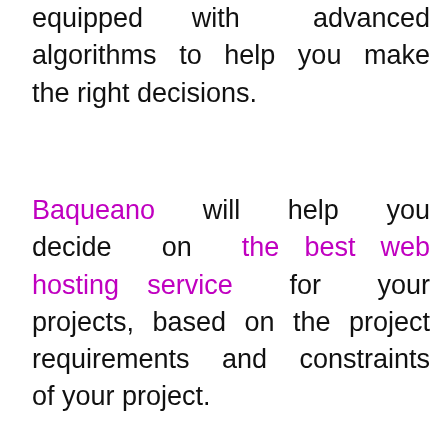equipped with advanced algorithms to help you make the right decisions.
Baqueano will help you decide on the best web hosting service for your projects, based on the project requirements and constraints of your project.
In a similar way, Estimadora, Baqueano's elder sister, makes intelligent recommendations based on your needs and will help you